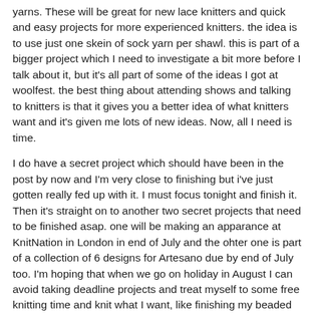yarns. These will be great for new lace knitters and quick and easy projects for more experienced knitters. the idea is to use just one skein of sock yarn per shawl. this is part of a bigger project which I need to investigate a bit more before I talk about it, but it's all part of some of the ideas I got at woolfest. the best thing about attending shows and talking to knitters is that it gives you a better idea of what knitters want and it's given me lots of new ideas. Now, all I need is time.
I do have a secret project which should have been in the post by now and I'm very close to finishing but i've just gotten really fed up with it. I must focus tonight and finish it. Then it's straight on to another two secret projects that need to be finished asap. one will be making an apparance at KnitNation in London in end of July and the ohter one is part of a collection of 6 designs for Artesano due by end of July too. I'm hoping that when we go on holiday in August I can avoid taking deadline projects and treat myself to some free knitting time and knit what I want, like finishing my beaded shawl, knit some socks (perfect for beach knitting) and perhaps a smaller shawl or two. I really don't want to take sweater projects as it'll be too hot to knit on those. I need